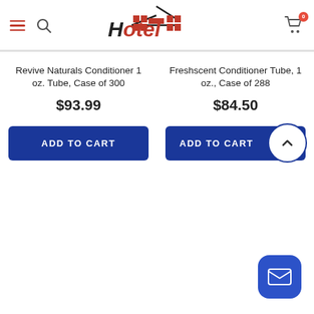[Figure (logo): Hotel Supply Depot logo with stylized building/H icon in red and black]
Revive Naturals Conditioner 1 oz. Tube, Case of 300
$93.99
Freshscent Conditioner Tube, 1 oz., Case of 288
$84.50
ADD TO CART
ADD TO CART